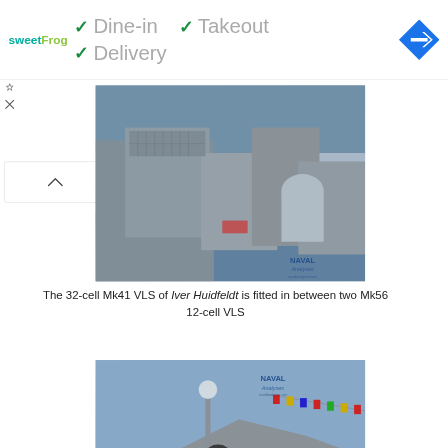[Figure (screenshot): UI banner showing sweetFrog logo and service options: Dine-in (checked), Takeout (checked), Delivery (checked), with a navigation arrow icon on the right]
[Figure (photo): Close-up photo of the 32-cell Mk41 VLS on the Danish frigate Iver Huidfeldt, showing gray ship deck structures with missile launcher modules, Naval Analyses watermark visible]
The 32-cell Mk41 VLS of Iver Huidfeldt is fitted in between two Mk56 12-cell VLS
[Figure (photo): Photo of the Iver Huidfeldt frigate deck showing stealth superstructure, antenna mast, colorful signal flags, and blue sky/water background, Naval Analyses watermark visible]
The 32-cell Mk41 VLS of Iver Huidfeldt is fitted in between